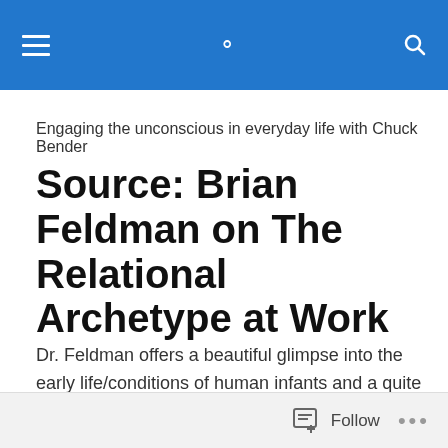Engaging the unconscious in everyday life with Chuck Bender
Source: Brian Feldman on The Relational Archetype at Work
Dr. Feldman offers a beautiful glimpse into the early life/conditions of human infants and a quite accessible framing up of the origins of the coniunctio. Tales of shared reverie and undulation….
Follow